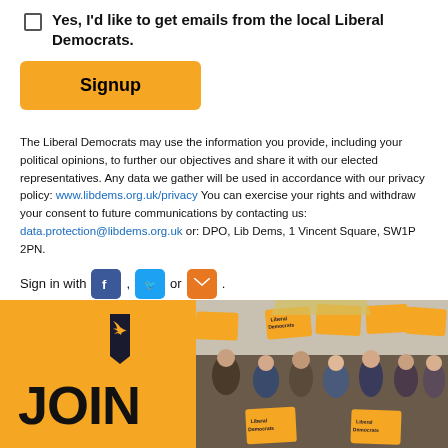Yes, I'd like to get emails from the local Liberal Democrats.
Signup
The Liberal Democrats may use the information you provide, including your political opinions, to further our objectives and share it with our elected representatives. Any data we gather will be used in accordance with our privacy policy: www.libdems.org.uk/privacy You can exercise your rights and withdraw your consent to future communications by contacting us: data.protection@libdems.org.uk or: DPO, Lib Dems, 1 Vincent Square, SW1P 2PN.
Sign in with [Facebook], [Twitter] or [Email].
[Figure (photo): Liberal Democrats JOIN banner with party logo and crowd of supporters holding Liberal Democrats signs at an outdoor event]